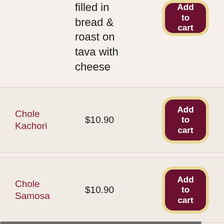filled in bread & roast on tava with cheese
Chole Kachori $10.90
Chole Samosa $10.90
Chole Tikki $10.90